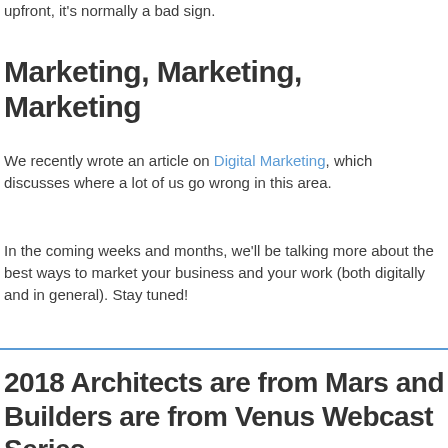upfront, it's normally a bad sign.
Marketing, Marketing, Marketing
We recently wrote an article on Digital Marketing, which discusses where a lot of us go wrong in this area.
In the coming weeks and months, we'll be talking more about the best ways to market your business and your work (both digitally and in general). Stay tuned!
2018 Architects are from Mars and Builders are from Venus Webcast Series